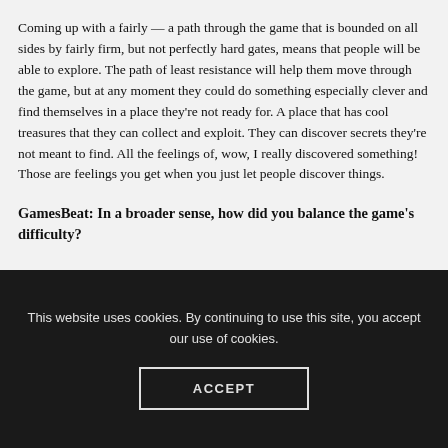Coming up with a fairly — a path through the game that is bounded on all sides by fairly firm, but not perfectly hard gates, means that people will be able to explore. The path of least resistance will help them move through the game, but at any moment they could do something especially clever and find themselves in a place they're not ready for. A place that has cool treasures that they can collect and exploit. They can discover secrets they're not meant to find. All the feelings of, wow, I really discovered something! Those are feelings you get when you just let people discover things.
GamesBeat: In a broader sense, how did you balance the game's difficulty?
This website uses cookies. By continuing to use this site, you accept our use of cookies.
ACCEPT